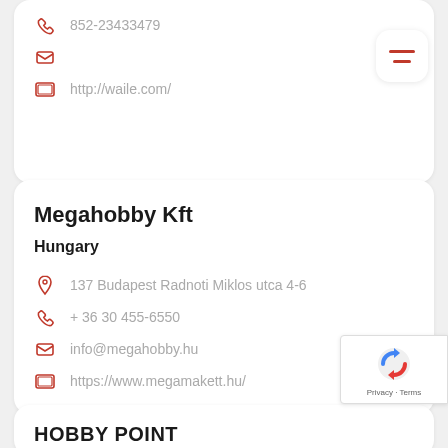852-23433479
http://waile.com/
Megahobby Kft
Hungary
137 Budapest Radnoti Miklos utca 4-6
+ 36 30 455-6550
info@megahobby.hu
https://www.megamakett.hu/
HOBBY POINT